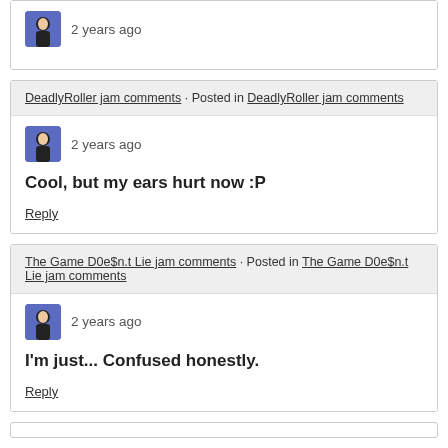2 years ago
DeadlyRoller jam comments · Posted in DeadlyRoller jam comments
2 years ago
Cool, but my ears hurt now :P
Reply
The Game D0e$n.t Lie jam comments · Posted in The Game D0e$n.t Lie jam comments
2 years ago
I'm just... Confused honestly.
Reply